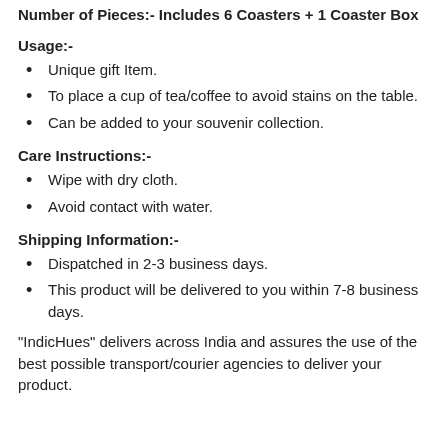Number of Pieces:- Includes 6 Coasters + 1 Coaster Box
Usage:-
Unique gift Item.
To place a cup of tea/coffee to avoid stains on the table.
Can be added to your souvenir collection.
Care Instructions:-
Wipe with dry cloth.
Avoid contact with water.
Shipping Information:-
Dispatched in 2-3 business days.
This product will be delivered to you within 7-8 business days.
"IndicHues" delivers across India and assures the use of the best possible transport/courier agencies to deliver your product.